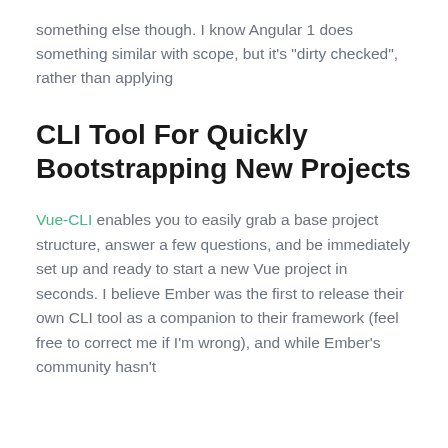something else though. I know Angular 1 does something similar with scope, but it's "dirty checked", rather than applying
CLI Tool For Quickly Bootstrapping New Projects
Vue-CLI enables you to easily grab a base project structure, answer a few questions, and be immediately set up and ready to start a new Vue project in seconds. I believe Ember was the first to release their own CLI tool as a companion to their framework (feel free to correct me if I'm wrong), and while Ember's community hasn't